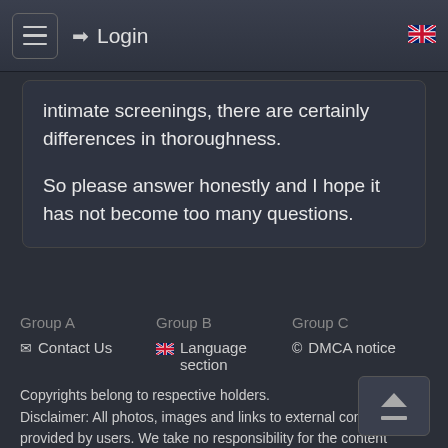Login
intimate screenings, there are certainly differences in thoroughness.

So please answer honestly and I hope it has not become too many questions.
Group A
Group B
Group C
Contact Us
Language section
DMCA notice
Copyrights belong to respective holders.
Disclaimer: All photos, images and links to external content are provided by users. We take no responsibility for the content added / uploaded by users.